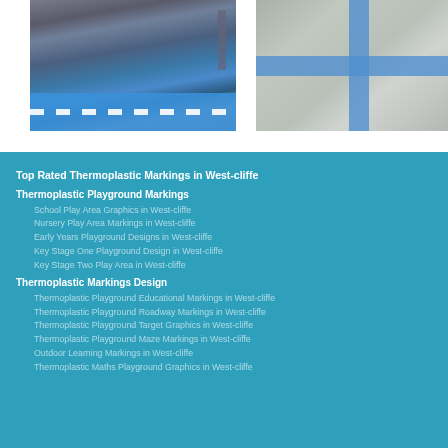[Figure (photo): Blue cycle lane markings on a road, viewed from street level]
[Figure (photo): Blue painted X crossing markings at a road intersection, aerial view]
Top Rated Thermoplastic Markings in West-cliffe
Thermoplastic Playground Markings
School Play Area Graphics in West-cliffe
Nursery Play Area Markings in West-cliffe
Early Years Playground Designs in West-cliffe
Key Stage One Playground Design in West-cliffe
Key Stage Two Play Area in West-cliffe
Thermoplastic Markings Design
Thermoplastic Playground Educational Markings in West-cliffe
Thermoplastic Playground Roadway Markings in West-cliffe
Thermoplastic Playground Target Graphics in West-cliffe
Thermoplastic Playground Maze Markings in West-cliffe
Outdoor Learning Markings in West-cliffe
Thermoplastic Maths Playground Graphics in West-cliffe